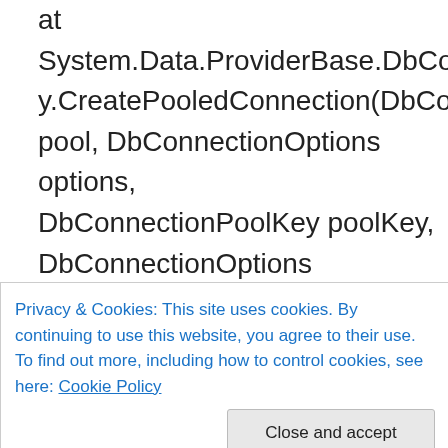at System.Data.ProviderBase.DbConnectionFactory.CreatePooledConnection(DbConnectionPool pool, DbConnectionOptions options, DbConnectionPoolKey poolKey, DbConnectionOptions userOptions)
at System.Data.ProviderBase.DbConnectionPool.CreateObject(DbConnectionOptions userOptions)
at System.Data.ProviderBase.DbConnectionPool.U
Privacy & Cookies: This site uses cookies. By continuing to use this website, you agree to their use.
To find out more, including how to control cookies, see here: Cookie Policy
UInt32 waitForMultipleObjectsTimeout, Boolean